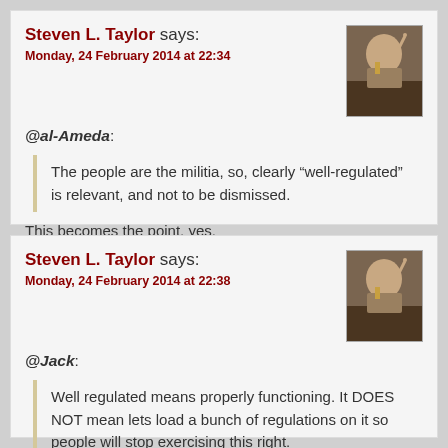Steven L. Taylor says:
Monday, 24 February 2014 at 22:34
@al-Ameda:
The people are the militia, so, clearly “well-regulated” is relevant, and not to be dismissed.
This becomes the point, yes.
[Figure (photo): Avatar photo of Steven L. Taylor at a podium gesturing with finger raised]
Steven L. Taylor says:
Monday, 24 February 2014 at 22:38
@Jack:
Well regulated means properly functioning. It DOES NOT mean lets load a bunch of regulations on it so people will stop exercising this right.
[Figure (photo): Avatar photo of Steven L. Taylor at a podium gesturing with finger raised]